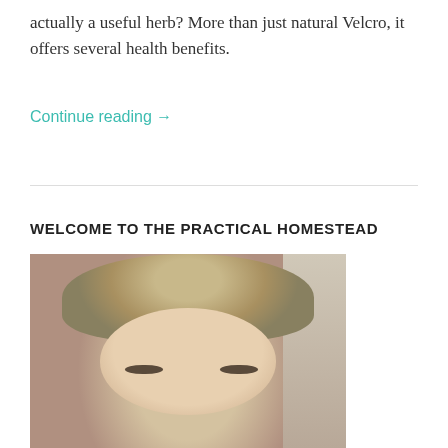actually a useful herb? More than just natural Velcro, it offers several health benefits.
Continue reading →
WELCOME TO THE PRACTICAL HOMESTEAD
[Figure (photo): Portrait photo of a woman with curly blonde hair looking at the camera]